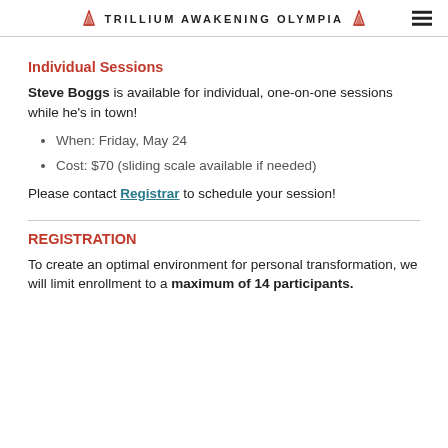TRILLIUM AWAKENING OLYMPIA
Individual Sessions
Steve Boggs is available for individual, one-on-one sessions while he's in town!
When: Friday, May 24
Cost: $70 (sliding scale available if needed)
Please contact Registrar to schedule your session!
REGISTRATION
To create an optimal environment for personal transformation, we will limit enrollment to a maximum of 14 participants.